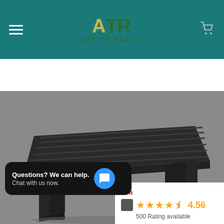[Figure (logo): Art To Real (ATR) logo with yellow A and green TR letters, green ART TO REAL text below, on teal background header]
[Figure (screenshot): E-commerce website screenshot showing search bar with All dropdown and search button on teal background]
[Figure (photo): Dark grey/black rectangular outdoor coffee table with slatted top and rectangular metal legs on grey background]
Questions? We can help. Chat with us now.
Bla
4.56
500 Rating available